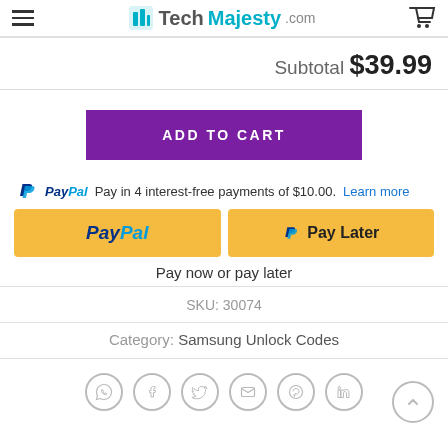TechMajesty.com
Subtotal $39.99
ADD TO CART
Pay in 4 interest-free payments of $10.00. Learn more
[Figure (screenshot): PayPal and Pay Later payment buttons]
Pay now or pay later
SKU: 30074
Category: Samsung Unlock Codes
[Figure (infographic): Social share icons: WhatsApp, Facebook, Twitter, Email, Pinterest, LinkedIn]